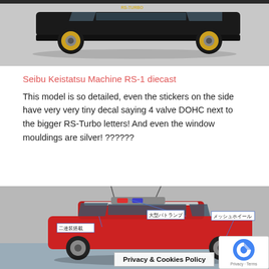[Figure (photo): Side view of a black RS-Turbo diecast model car with gold rims on a grey background]
Seibu Keistatsu Machine RS-1 diecast
This model is so detailed, even the stickers on the side have very very tiny decal saying 4 valve DOHC next to the bigger RS-Turbo letters! And even the window mouldings are silver! ??????
[Figure (photo): Top/angled view of a red RS-1 police car diecast model with Japanese callout labels: 大型バトランプ, メッシュホイール, 二連装搭載]
Privacy & Cookies Policy